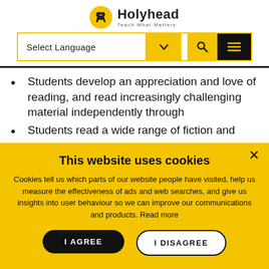[Figure (logo): Holyhead logo with yellow circle containing a wrench icon, text 'Holyhead' and tagline 'Teach What Matters']
[Figure (screenshot): Navigation bar with 'Select Language' dropdown, search icon, and hamburger menu on black background]
Students develop an appreciation and love of reading, and read increasingly challenging material independently through
Students read a wide range of fiction and
This website uses cookies
Cookies tell us which parts of our website people have visited, help us measure the effectiveness of ads and web searches, and give us insights into user behaviour so we can improve our communications and products. Read more
I AGREE
I DISAGREE